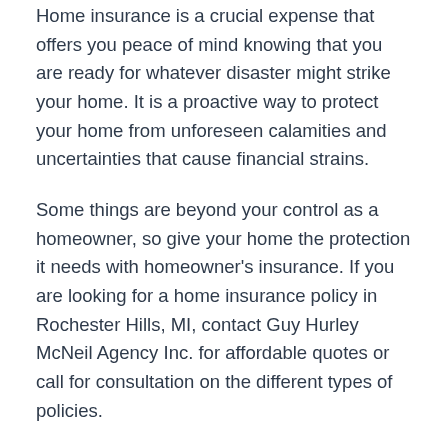Home insurance is a crucial expense that offers you peace of mind knowing that you are ready for whatever disaster might strike your home. It is a proactive way to protect your home from unforeseen calamities and uncertainties that cause financial strains.
Some things are beyond your control as a homeowner, so give your home the protection it needs with homeowner's insurance. If you are looking for a home insurance policy in Rochester Hills, MI, contact Guy Hurley McNeil Agency Inc. for affordable quotes or call for consultation on the different types of policies.
POSTED IN HOME INSURANCE TAGGED GUY HURLEY MCNEIL, ROCHESTER HILLS MI
HOW IS HOMEOWNERS INSURANCE